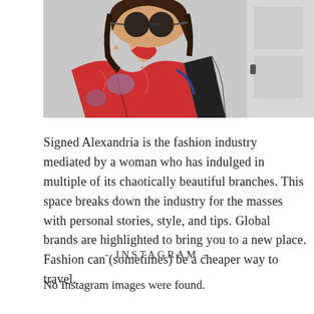[Figure (photo): A woman with brown shoulder-length hair wearing large round sunglasses and a red floral print shirt, photographed against a white door background.]
Signed Alexandria is the fashion industry mediated by a woman who has indulged in multiple of its chaotically beautiful branches. This space breaks down the industry for the masses with personal stories, style, and tips. Global brands are highlighted to bring you to a new place. Fashion can (sometimes) be a cheaper way to travel.
- INSTAGRAM -
No Instagram images were found.